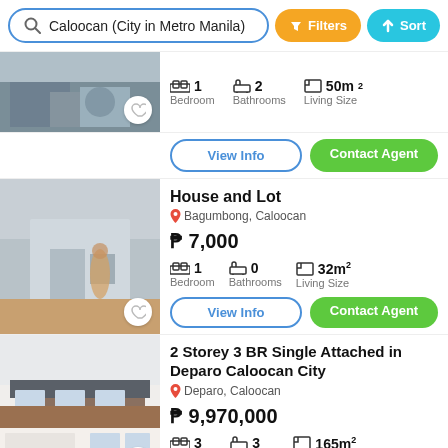Caloocan (City in Metro Manila)  Filters  Sort
[Figure (photo): Partial view of a property listing with bicycles visible, top of page]
1  Bedroom   2  Bathrooms   50m²  Living Size
View Info   Contact Agent
House and Lot
Bagumbong, Caloocan
₱ 7,000
1 Bedroom   0 Bathrooms   32m² Living Size
View Info   Contact Agent
2 Storey 3 BR Single Attached in Deparo Caloocan City
Deparo, Caloocan
₱ 9,970,000
3 Bedrooms   3 Bathrooms   165m² Living Size